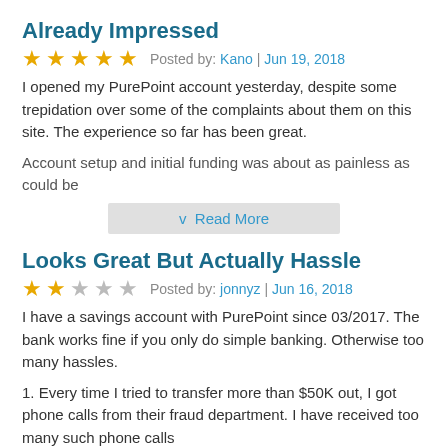Already Impressed
★★★★★  Posted by: Kano | Jun 19, 2018
I opened my PurePoint account yesterday, despite some trepidation over some of the complaints about them on this site. The experience so far has been great.
Account setup and initial funding was about as painless as could be
v  Read More
Looks Great But Actually Hassle
★★☆☆☆  Posted by: jonnyz | Jun 16, 2018
I have a savings account with PurePoint since 03/2017. The bank works fine if you only do simple banking. Otherwise too many hassles.
1. Every time I tried to transfer more than $50K out, I got phone calls from their fraud department. I have received too many such phone calls
v  Read More
Unauthorized Transfer From Bank Account To Purepoint